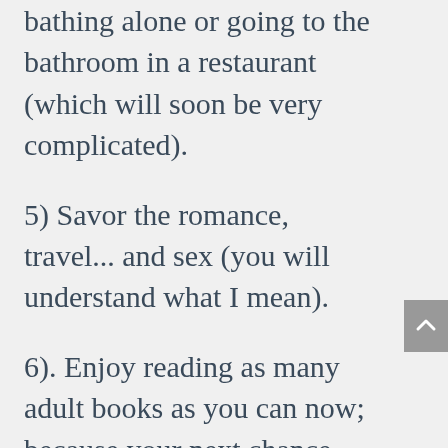bathing alone or going to the bathroom in a restaurant (which will soon be very complicated).
5) Savor the romance, travel... and sex (you will understand what I mean).
6). Enjoy reading as many adult books as you can now; because your next chance won't be until they go off to college.
Being a mom is the most precious blessing in life. I